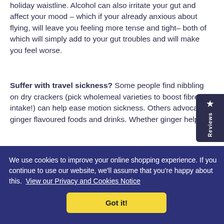holiday waistline. Alcohol can also irritate your gut and affect your mood – which if your already anxious about flying, will leave you feeling more tense and tight– both of which will simply add to your gut troubles and will make you feel worse.
Suffer with travel sickness? Some people find nibbling on dry crackers (pick wholemeal varieties to boost fibre intake!) can help ease motion sickness. Others advocate ginger flavoured foods and drinks. Whether ginger helps
We use cookies to improve your online shopping experience. If you continue to use our website, we'll assume that you're happy about this. View our Privacy and Cookies Notice
Got it!